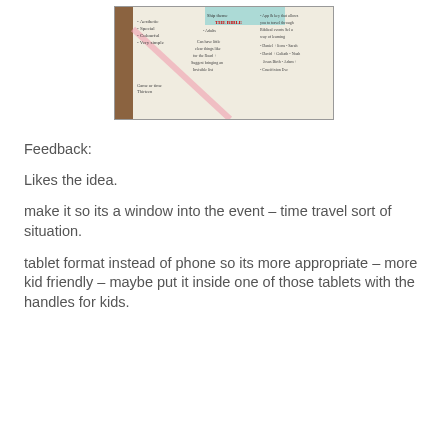[Figure (photo): Photo of a handwritten notebook page with brainstorming notes about biblical events and app/experience concepts, with pink and blue highlighter marks.]
Feedback:
Likes the idea.
make it so its a window into the event – time travel sort of situation.
tablet format instead of phone so its more appropriate – more kid friendly – maybe put it inside one of those tablets with the handles for kids.